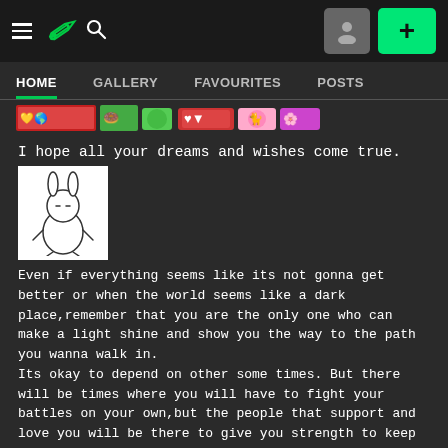DeviantArt navigation bar with hamburger menu, logo, search icon, user icon, and + button
HOME | GALLERY | FAVOURITES | POSTS
[Figure (illustration): Emoji/icon strip showing colorful small icons/avatars]
I hope all your dreams and wishes come true.
[Figure (illustration): Simple stick-figure bunny/rabbit drawing on white background, looking neutral]
Even if everything seems like its not gonna get better or when the world seems like a dark place,remember that you are the only one who can make a light shine and show you the way to the path you wanna walk in.
Its okay to depend on other some times. But there will be times where you will have to fight your battles on your own,but the people that support and love you will be there to give you strength to keep fighting.
So don't give up!Cause you can do it!